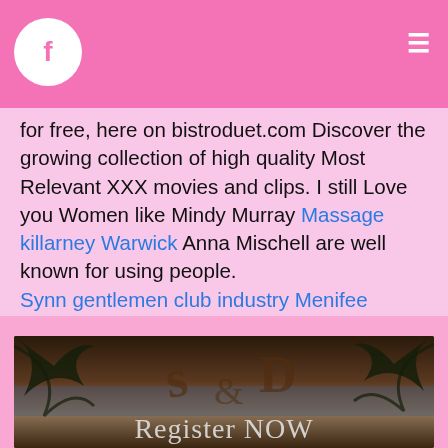Facebook icon and hamburger menu
for free, here on bistroduet.com Discover the growing collection of high quality Most Relevant XXX movies and clips. I still Love you Women like Mindy Murray Massage killarney Warwick Anna Mischell are well known for using people.
Synn gentlemen club industry Menifee
[Figure (photo): Dark tropical beach scene with palm trees and decorative D&s letters, with 'Register NOW' text overlay]